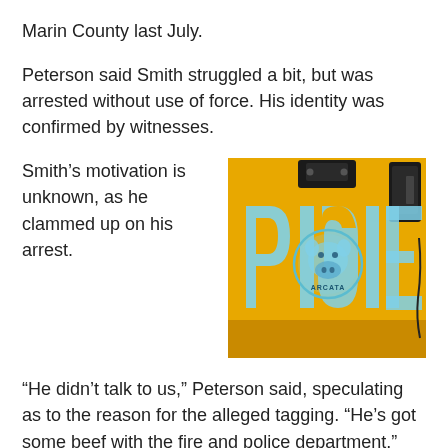Marin County last July.
Peterson said Smith struggled a bit, but was arrested without use of force. His identity was confirmed by witnesses.
Smith’s motivation is unknown, as he clammed up on his arrest.
[Figure (photo): A yellow vehicle door or panel with blue graffiti spray paint reading 'PIGGIES' and an Arcata pig logo sticker in the center. Black handle/latch visible at top.]
“He didn’t talk to us,” Peterson said, speculating as to the reason for the alleged tagging. “He’s got some beef with the fire and police department.”
At the time of his arrest, Peterson said, Smith was in possession of spray paint.